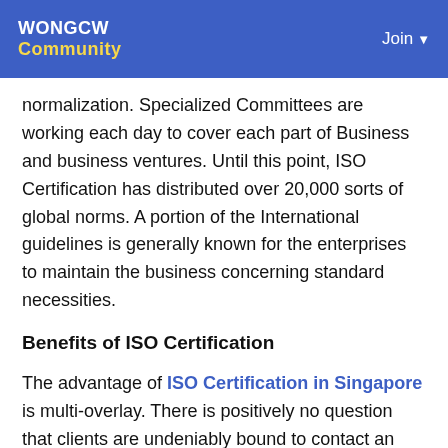WONGCW Community | Join
normalization. Specialized Committees are working each day to cover each part of Business and business ventures. Until this point, ISO Certification has distributed over 20,000 sorts of global norms. A portion of the International guidelines is generally known for the enterprises to maintain the business concerning standard necessities.
Benefits of ISO Certification
The advantage of ISO Certification in Singapore is multi-overlay. There is positively no question that clients are undeniably bound to contact an organization if it utilizes an ISO logo in the advertising of its items or administrations.